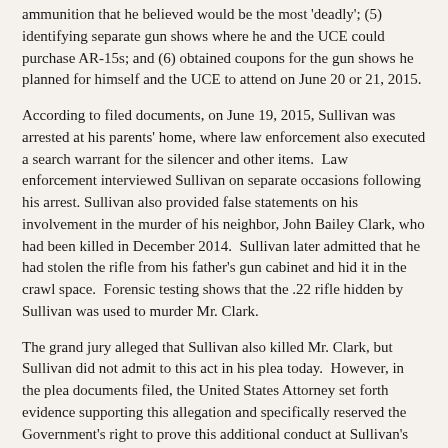ammunition that he believed would be the most 'deadly'; (5) identifying separate gun shows where he and the UCE could purchase AR-15s; and (6) obtained coupons for the gun shows he planned for himself and the UCE to attend on June 20 or 21, 2015.
According to filed documents, on June 19, 2015, Sullivan was arrested at his parents' home, where law enforcement also executed a search warrant for the silencer and other items.  Law enforcement interviewed Sullivan on separate occasions following his arrest. Sullivan also provided false statements on his involvement in the murder of his neighbor, John Bailey Clark, who had been killed in December 2014.  Sullivan later admitted that he had stolen the rifle from his father's gun cabinet and hid it in the crawl space.  Forensic testing shows that the .22 rifle hidden by Sullivan was used to murder Mr. Clark.
The grand jury alleged that Sullivan also killed Mr. Clark, but Sullivan did not admit to this act in his plea today.  However, in the plea documents filed, the United States Attorney set forth evidence supporting this allegation and specifically reserved the Government's right to prove this additional conduct at Sullivan's sentencing hearing.
The District Attorney's Office for North Carolina's 25th Prosecutorial District, which includes Burke, Caldwell and Catawba Counties, is handling North Carolina's prosecution of Sullivan for Clark's murder.
Sullivan is currently in federal custody.  According to the filed plea agreement, Sullivan pleaded guilty to Count Nine of the Superseding Indictment, which